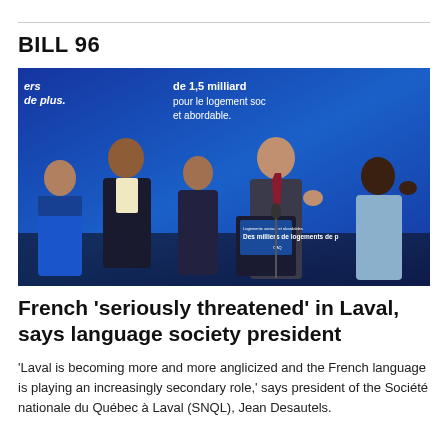BILL 96
[Figure (photo): Press conference photo showing five people standing on a stage with a blue background displaying text 'de 1,5 milliard pour le logement social et abordable.' A man in a suit and tie speaks at a podium with a sign reading 'Des milliers de logements de p...' (CAQ). Four other people stand behind and beside him.]
French 'seriously threatened' in Laval, says language society president
'Laval is becoming more and more anglicized and the French language is playing an increasingly secondary role,' says president of the Société nationale du Québec à Laval (SNQL), Jean Desautels.